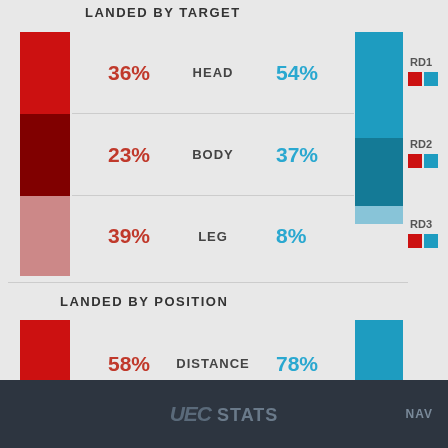LANDED BY TARGET
[Figure (stacked-bar-chart): LANDED BY TARGET]
LANDED BY POSITION
[Figure (stacked-bar-chart): LANDED BY POSITION]
RD1
RD2
RD3
UFC STATS  NAV